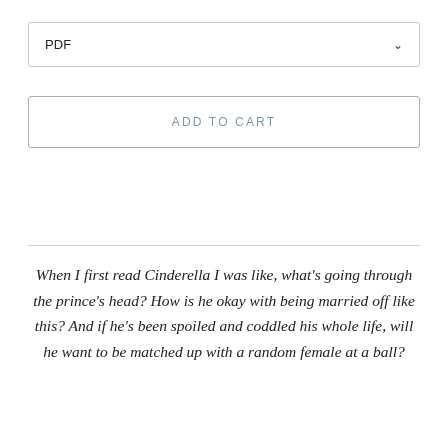PDF
ADD TO CART
When I first read Cinderella I was like, what's going through the prince's head? How is he okay with being married off like this? And if he's been spoiled and coddled his whole life, will he want to be matched up with a random female at a ball?